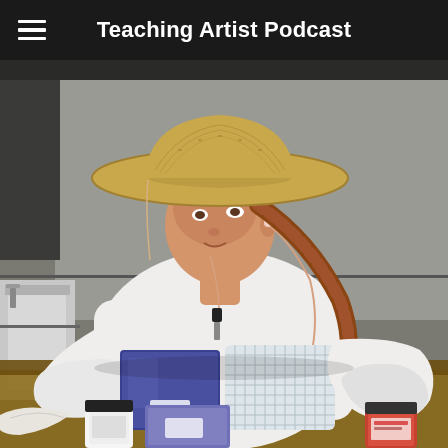Teaching Artist Podcast
[Figure (photo): A woman wearing a wide-brimmed straw hat and white blouse with a braided ponytail, wearing white gloves and working with craft/dyeing supplies including a dark blue bag, a white mesh basket, and several jars on a table. She has earbuds in and appears to be teaching or demonstrating something. Background shows a concrete or stone wall and a utility sink.]